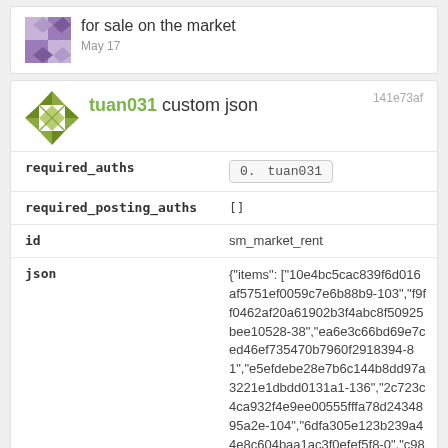for sale on the market
May 17
tuan031 custom json
141e73af
| field | value |
| --- | --- |
| required_auths | 0.  tuan031 |
| required_posting_auths | [] |
| id | sm_market_rent |
| json | {"items": ["10e4bc5cac839f6d016af5751ef0059c7e6b88b9-103","f9ff0462af20a61902b3f4abc8f50925bee10528-38","ea6e3c66bd69e7ced46ef735470b7960f2918394-81","e5efdebe28e7b6c144b8dd97a3221e1dbdd0131a1-136","2c723c4ca932f4e9ee00555fffa78d2434895a2e-104","6dfa305e123b239a44e8c604baa1ac3f0efef5f8-0","c9897c38d61182aded201e97a06c629925eb61a2-0","10e4bc5cac839f6d016af5751ef0059c7e6b88b9-444" |